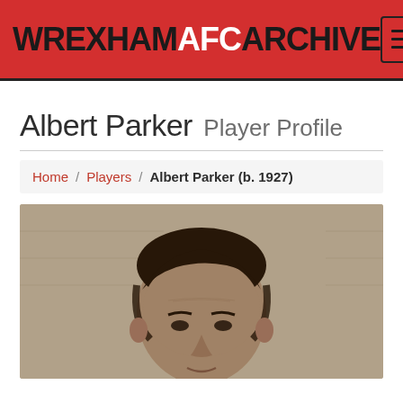WREXHAM AFC ARCHIVE
Albert Parker Player Profile
Home / Players / Albert Parker (b. 1927)
[Figure (photo): Black and white portrait photograph of Albert Parker, showing his face and top of head, with a brick wall background]